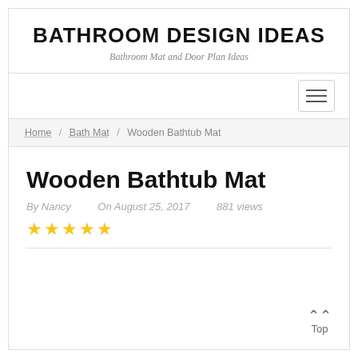BATHROOM DESIGN IDEAS
Bathroom Mat and Door Plan Ideas
Home / Bath Mat / Wooden Bathtub Mat
Wooden Bathtub Mat
By Nancy   On August 25, 2017   881 views
★★★★★
Top